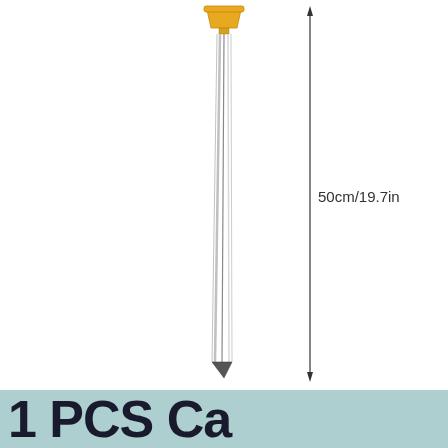[Figure (illustration): A long medical needle/probe with a yellow hub/cap at the top and a sharp pointed tip at the bottom. A dimension line with arrows runs from the top to the bottom on the right side, labeled '50cm/19.7in'.]
1 PCS Ca...